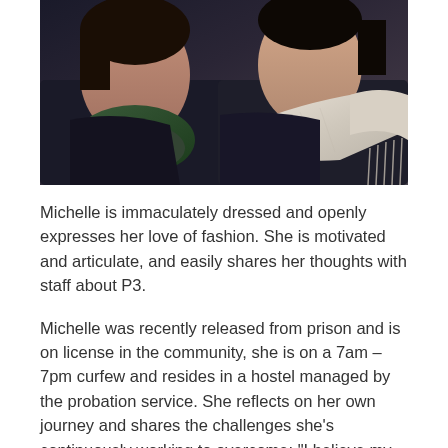[Figure (photo): Photo of two women posing together, one wearing a dark fuzzy scarf and the other wearing a white/cream scarf or shawl, both in dark clothing]
Michelle is immaculately dressed and openly expresses her love of fashion. She is motivated and articulate, and easily shares her thoughts with staff about P3.
Michelle was recently released from prison and is on license in the community, she is on a 7am – 7pm curfew and resides in a hostel managed by the probation service. She reflects on her own journey and shares the challenges she's continuously working to overcome: "I believe my addiction is a learnt behaviour, my family moved around a lot and mum, dad, my friends and relations, they all drank. That was just my 'normal' as I was growing up and I didn't really think anything of it. I would drink too, but then I began to use drugs recreationally when I was out with the girls clubbing – nothing too serious at first, but looking back now I never...